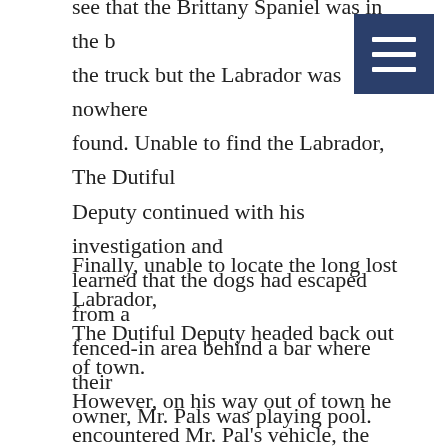Dutiful Deputy's sharp vision allowed him to see that the Brittany Spaniel was in the back of the truck but the Labrador was nowhere to be found. Unable to find the Labrador, The Dutiful Deputy continued with his investigation and learned that the dogs had escaped from a fenced-in area behind a bar where their owner, Mr. Pals was playing pool.
Finally, unable to locate the long lost Labrador, The Dutiful Deputy headed back out of town. However, on his way out of town he encountered Mr. Pal's vehicle, the white pickup truck with a red topper, going the other way. According to The Dutiful Deputy, he pulled Mr.